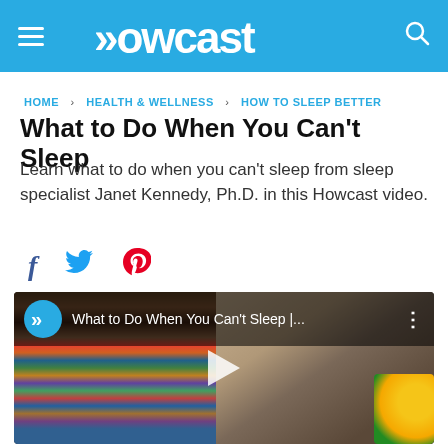Howcast
HOME › HEALTH & WELLNESS › HOW TO SLEEP BETTER
What to Do When You Can't Sleep
Learn what to do when you can't sleep from sleep specialist Janet Kennedy, Ph.D. in this Howcast video.
[Figure (other): Social share icons: Facebook, Twitter, Pinterest]
[Figure (screenshot): Video thumbnail showing bookshelf and woman, with title 'What to Do When You Can't Sleep |...' and play button]